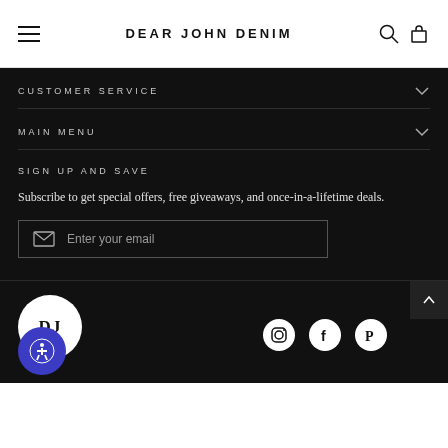DEAR JOHN DENIM
CUSTOMER SERVICE
MAIN MENU
SIGN UP AND SAVE
Subscribe to get special offers, free giveaways, and once-in-a-lifetime deals.
Enter your email
[Figure (logo): Dear John Denim DJ circular logo in white circle]
[Figure (infographic): Social media icons: Instagram, Facebook, Pinterest]